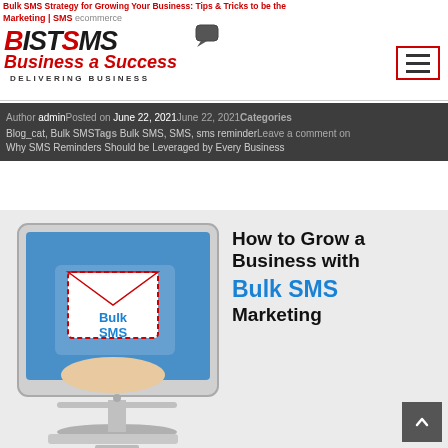BISTSMS - Delivering Business | Blog - Bulk SMS Marketing | ecommerce | Business a Success
Author adminPosted on June 22, 2021June 22, 2021Categories Blog_cat, Bulk SMSTags Bulk SMS, SMS, sms reminderLeave a comment on Why SMS Reminders Should be Leveraged by Every Business
[Figure (illustration): Article hero image showing a computer monitor with a hand holding a Bulk SMS envelope, alongside the text 'How to Grow a Business with Bulk SMS Marketing']
How to Grow a Business with Bulk SMS Marketing